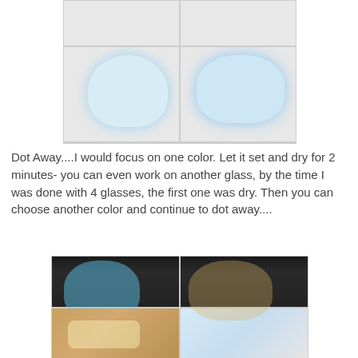[Figure (photo): Collage of 4 photos showing decorated glass jars/vases with blue polka dot paint patterns on black and white striped background, with paint markers visible]
Dot Away....I would focus on one color. Let it set and dry for 2 minutes- you can even work on another glass, by the time I was done with 4 glasses, the first one was dry. Then you can choose another color and continue to dot away....
[Figure (photo): Collage of 4 photos showing further stages of the dot painting project on glasses, including multicolor dots and final results]